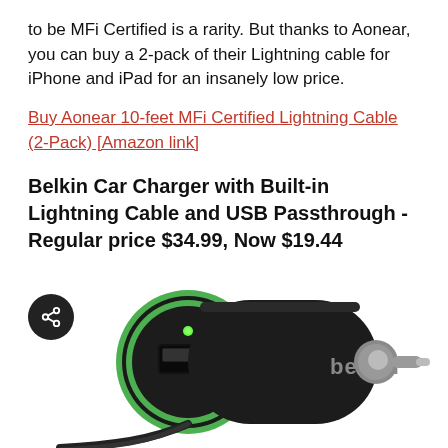to be MFi Certified is a rarity. But thanks to Aonear, you can buy a 2-pack of their Lightning cable for iPhone and iPad for an insanely low price.
Buy Aonear 10-feet MFi Certified Lightning Cable (2-Pack) [Amazon link]
Belkin Car Charger with Built-in Lightning Cable and USB Passthrough - Regular price $34.99, Now $19.44
[Figure (photo): Photo of a Belkin car charger device, black with green ring accent and USB port, with the Belkin logo on the side. A share button icon is overlaid at the bottom left.]